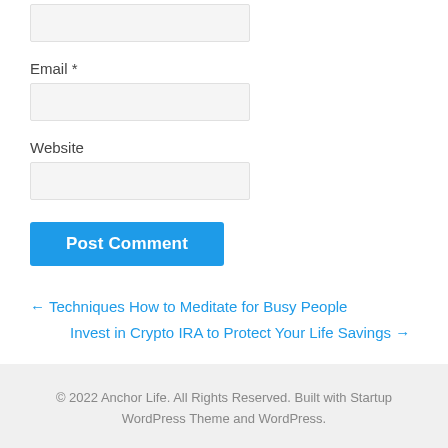Email *
Website
Post Comment
← Techniques How to Meditate for Busy People
Invest in Crypto IRA to Protect Your Life Savings →
© 2022 Anchor Life. All Rights Reserved. Built with Startup WordPress Theme and WordPress.